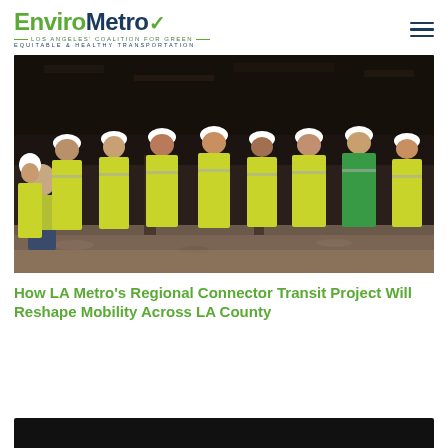EnviroMetro — LOS ANGELES' COALITION FOR GREEN — EQUITABLE & HEALTHY TRANSPORTATION
[Figure (photo): Group of approximately nine people wearing yellow high-visibility vests and white hard hats posing together at a construction site with dark excavated walls in the background]
How LA Metro's Regional Connector Transit Project Will Reshape Mobility Across LA County
[Figure (photo): Black strip at bottom of page, beginning of another image]